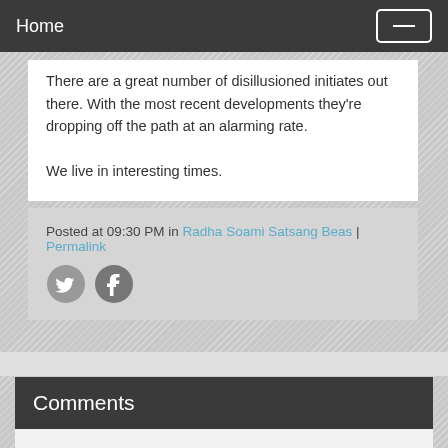Home
There are a great number of disillusioned initiates out there. With the most recent developments they're dropping off the path at an alarming rate.

We live in interesting times.
Posted at 09:30 PM in Radha Soami Satsang Beas | Permalink
[Figure (illustration): Twitter and Facebook social sharing icons (circular grey buttons with bird and f logos)]
Comments